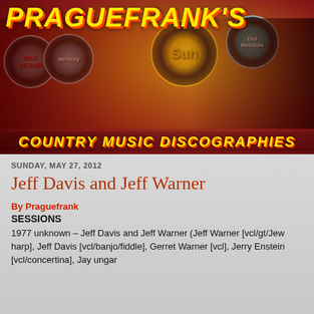[Figure (illustration): Praguefrank's Country Music Discographies banner with vintage country musicians and record labels (RCA, Mercury, Sun, Dot)]
SUNDAY, MAY 27, 2012
Jeff Davis and Jeff Warner
By Praguefrank
SESSIONS
1977 unknown – Jeff Davis and Jeff Warner (Jeff Warner [vcl/gt/Jew harp], Jeff Davis [vcl/banjo/fiddle], Gerret Warner [vcl], Jerry Enstein [vcl/concertina], Jay ungar